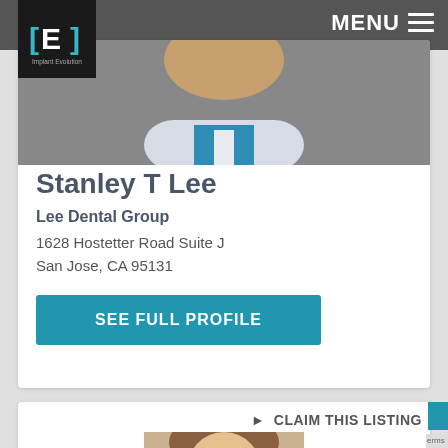[Figure (logo): Implant Evolution logo with stylized E letter in brackets on dark background]
MENU ≡
[Figure (photo): Photo of Dr. Stanley T Lee in white coat with blue collar]
Stanley T Lee
Lee Dental Group
1628 Hostetter Road Suite J
San Jose, CA 95131
SEE FULL PROFILE
▶ CLAIM THIS LISTING
[Figure (photo): Partial photo of a female dentist with brown hair]